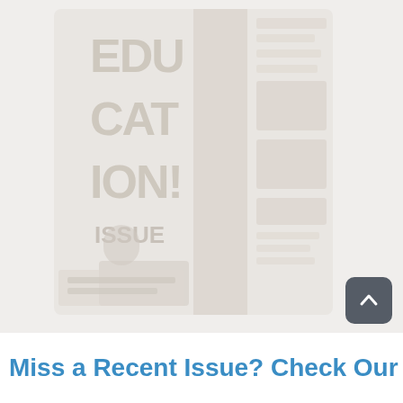[Figure (photo): A faded/washed-out image of two magazine covers side by side. The left cover shows large stacked text reading 'EDUCATION ISSUE' with an illustration of a person. The right cover shows article headlines and small images, consistent with a magazine front page layout. The overall image has very low contrast, appearing almost white.]
Miss a Recent Issue? Check Our